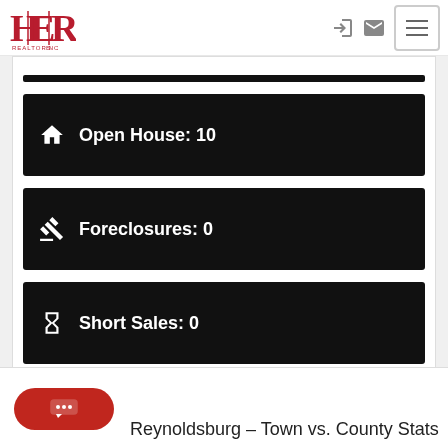HER Realtors logo and navigation
Open House: 10
Foreclosures: 0
Short Sales: 0
Reynoldsburg – Town vs. County Stats